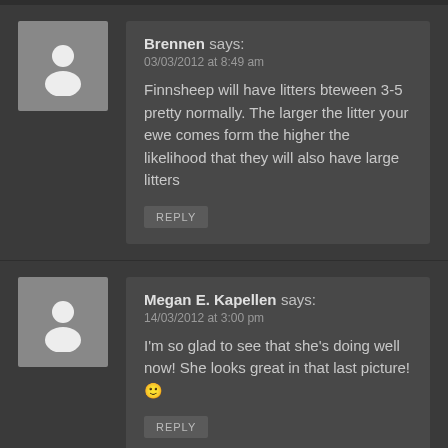Brennen says: 03/03/2012 at 8:49 am
Finnsheep will have litters bteween 3-5 pretty normally. The larger the litter your ewe comes form the higher the likelihood that they will also have large litters
REPLY
Megan E. Kapellen says: 14/03/2012 at 3:00 pm
I'm so glad to see that she's doing well now! She looks great in that last picture! 🙂
REPLY